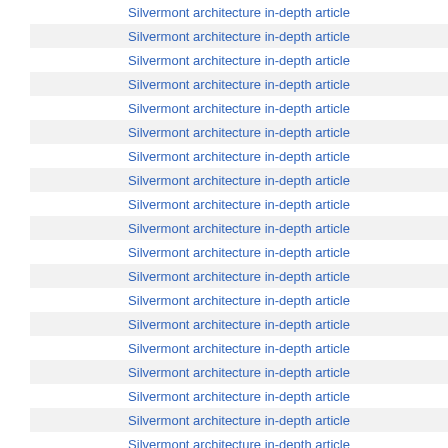Silvermont architecture in-depth article
Silvermont architecture in-depth article
Silvermont architecture in-depth article
Silvermont architecture in-depth article
Silvermont architecture in-depth article
Silvermont architecture in-depth article
Silvermont architecture in-depth article
Silvermont architecture in-depth article
Silvermont architecture in-depth article
Silvermont architecture in-depth article
Silvermont architecture in-depth article
Silvermont architecture in-depth article
Silvermont architecture in-depth article
Silvermont architecture in-depth article
Silvermont architecture in-depth article
Silvermont architecture in-depth article
Silvermont architecture in-depth article
Silvermont architecture in-depth article
Silvermont architecture in-depth article
Silvermont architecture in-depth article
Silvermont architecture in-depth article
Silvermont architecture in-depth article
Silvermont architecture in-depth article